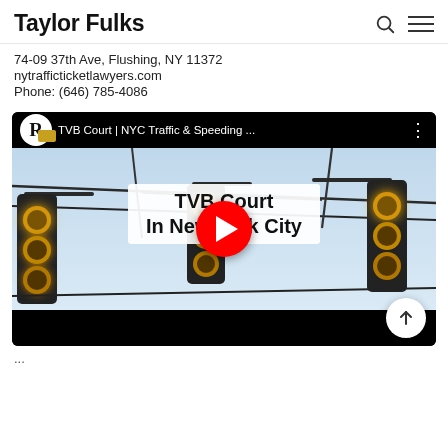Taylor Fulks
74-09 37th Ave, Flushing, NY 11372
nytrafficticketlawyers.com
Phone: (646) 785-4086
[Figure (screenshot): YouTube video thumbnail for 'TVB Court | NYC Traffic & Speeding ...' showing yellow traffic lights hanging from wires against a blue sky, with overlay text 'TVB Court In New York City' and a red YouTube play button in the center.]
...